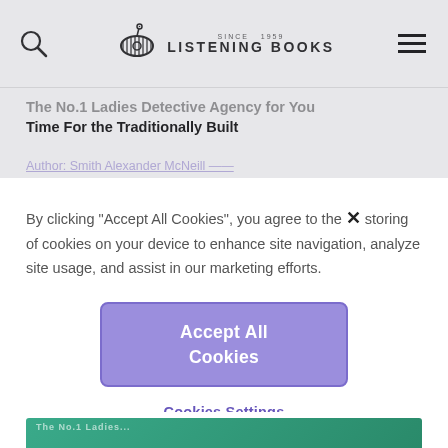Listening Books
The No.1 Ladies Detective Agency for You Time For the Traditionally Built
By clicking “Accept All Cookies”, you agree to the storing of cookies on your device to enhance site navigation, analyze site usage, and assist in our marketing efforts.
Accept All Cookies
Cookies Settings